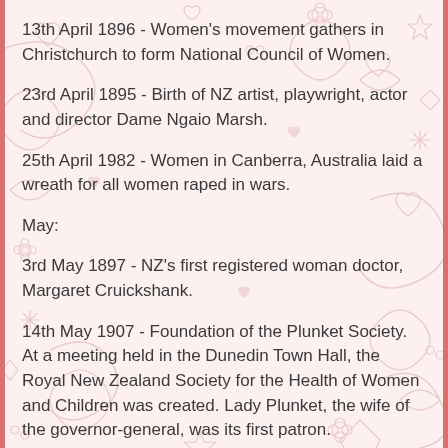13th April 1896 - Women's movement gathers in Christchurch to form National Council of Women.
23rd April 1895 - Birth of NZ artist, playwright, actor and director Dame Ngaio Marsh.
25th April 1982 - Women in Canberra, Australia laid a wreath for all women raped in wars.
May:
3rd May 1897 - NZ's first registered woman doctor, Margaret Cruickshank.
14th May 1907 - Foundation of the Plunket Society. At a meeting held in the Dunedin Town Hall, the Royal New Zealand Society for the Health of Women and Children was created. Lady Plunket, the wife of the governor-general, was its first patron.
10th May 1866 - Susan B. Anthony and Caroline Severance